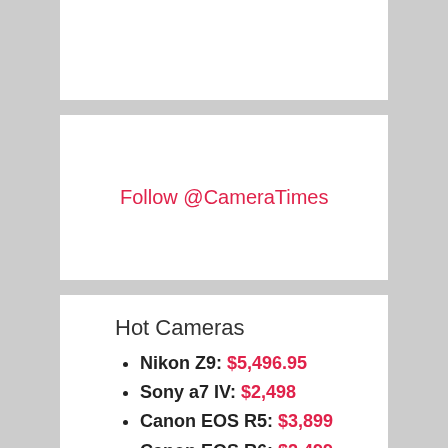[Figure (other): Empty white card at the top]
Follow @CameraTimes
Hot Cameras
Nikon Z9: $5,496.95
Sony a7 IV: $2,498
Canon EOS R5: $3,899
Canon EOS R6: $2,499
Fujifilm X-T4: $1,699
Panasonic S5: $1,998
Sony a7C: $1,798